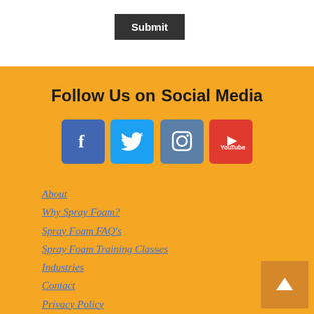[Figure (other): Submit button (dark/black background with white bold text)]
Follow Us on Social Media
[Figure (other): Social media icons: Facebook (blue), Twitter (light blue), Instagram (slate blue), YouTube (red)]
About
Why Spray Foam?
Spray Foam FAQ's
Spray Foam Training Classes
Industries
Contact
Privacy Policy
Terms and Conditions